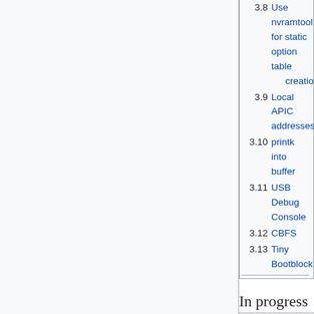3.8 Use nvramtool for static option table creation
3.9 Local APIC addresses
3.10 printk into buffer
3.11 USB Debug Console
3.12 CBFS
3.13 Tiny Bootblock
In progress
Low/High Tables
SeaBIOS requires a copy of various BIOS tables outside the fseg as it overwrites that segment. Generally clean out the table generation code.
Status: Upstream, implemented on some boards. There are problems on some chipsets/boards because of